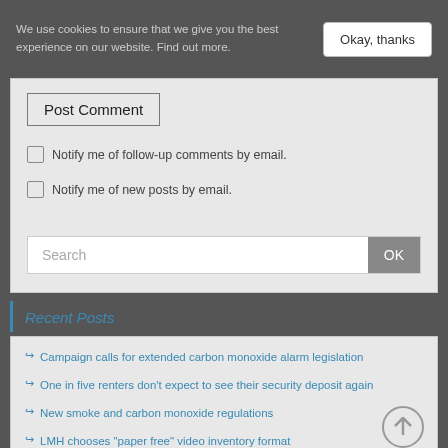We use cookies to ensure that we give you the best experience on our website. Find out more.
Okay, thanks
Post Comment
Notify me of follow-up comments by email.
Notify me of new posts by email.
Search
Recent Posts
Campaign calls for extended carbon monoxide alarm legislation
One in five renters don't expect to see their security deposit again
New smoke and carbon monoxide regulations
LMH chooses "paper free" video inventory format